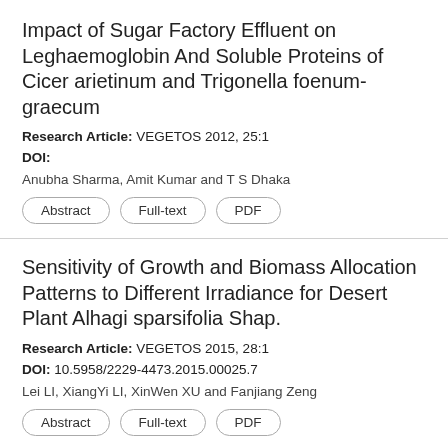Impact of Sugar Factory Effluent on Leghaemoglobin And Soluble Proteins of Cicer arietinum and Trigonella foenum-graecum
Research Article: VEGETOS 2012, 25:1
DOI:
Anubha Sharma, Amit Kumar and T S Dhaka
Abstract | Full-text | PDF
Sensitivity of Growth and Biomass Allocation Patterns to Different Irradiance for Desert Plant Alhagi sparsifolia Shap.
Research Article: VEGETOS 2015, 28:1
DOI: 10.5958/2229-4473.2015.00025.7
Lei LI, XiangYi LI, XinWen XU and Fanjiang Zeng
Abstract | Full-text | PDF
Morphological analyses define the Genetic Diversity of Indian bitter gourd (Momordica charantia L.)